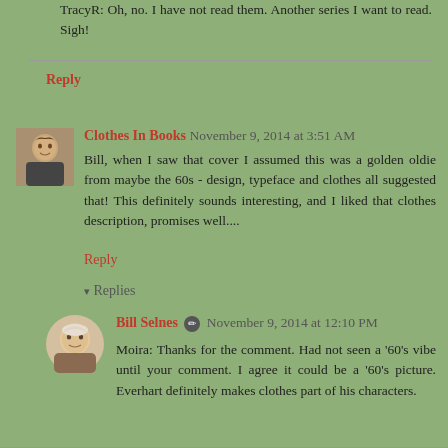TracyR: Oh, no. I have not read them. Another series I want to read. Sigh!
Reply
Clothes In Books  November 9, 2014 at 3:51 AM
Bill, when I saw that cover I assumed this was a golden oldie from maybe the 60s - design, typeface and clothes all suggested that! This definitely sounds interesting, and I liked that clothes description, promises well....
Reply
Replies
Bill Selnes  November 9, 2014 at 12:10 PM
Moira: Thanks for the comment. Had not seen a '60's vibe until your comment. I agree it could be a '60's picture. Everhart definitely makes clothes part of his characters.